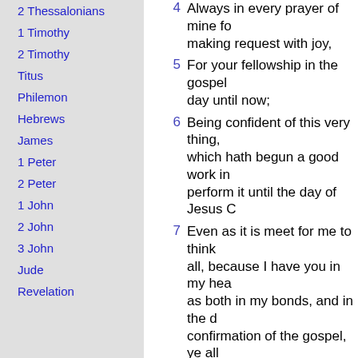2 Thessalonians
1 Timothy
2 Timothy
Titus
Philemon
Hebrews
James
1 Peter
2 Peter
1 John
2 John
3 John
Jude
Revelation
4 Always in every prayer of mine for making request with joy,
5 For your fellowship in the gospel day until now;
6 Being confident of this very thing, which hath begun a good work in perform it until the day of Jesus C
7 Even as it is meet for me to think all, because I have you in my hea as both in my bonds, and in the d confirmation of the gospel, ye all partakers of my grace.
8 For God is my record, how greatl you all in the bowels of Jesus Ch
9 And this I pray, that your love may more and more in knowledge and judgment;
10 That ye may approve things that excellent; that ye may be sincere offence till the day of Christ;
11 Being filled with the fruits of righte which are by Jesus Christ, unto th praise of God.
12 But I would ye should understand that the things which happened u